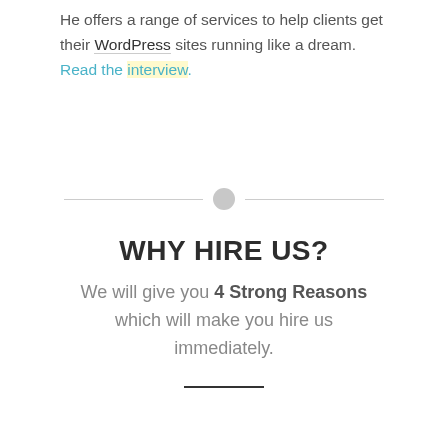He offers a range of services to help clients get their WordPress sites running like a dream. Read the interview.
[Figure (other): Horizontal divider with a small circle in the center]
WHY HIRE US?
We will give you 4 Strong Reasons which will make you hire us immediately.
[Figure (other): Number 1 inside a teal/cyan circle with a short horizontal line above it]